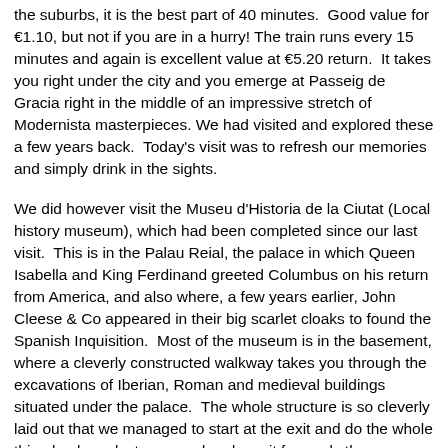the suburbs, it is the best part of 40 minutes. Good value for €1.10, but not if you are in a hurry! The train runs every 15 minutes and again is excellent value at €5.20 return. It takes you right under the city and you emerge at Passeig de Gracia right in the middle of an impressive stretch of Modernista masterpieces. We had visited and explored these a few years back. Today's visit was to refresh our memories and simply drink in the sights.
We did however visit the Museu d'Historia de la Ciutat (Local history museum), which had been completed since our last visit. This is in the Palau Reial, the palace in which Queen Isabella and King Ferdinand greeted Columbus on his return from America, and also where, a few years earlier, John Cleese & Co appeared in their big scarlet cloaks to found the Spanish Inquisition. Most of the museum is in the basement, where a cleverly constructed walkway takes you through the excavations of Iberian, Roman and medieval buildings situated under the palace. The whole structure is so cleverly laid out that we managed to start at the exit and do the whole thing backwards, turn round and see it forwards then come out without paying!